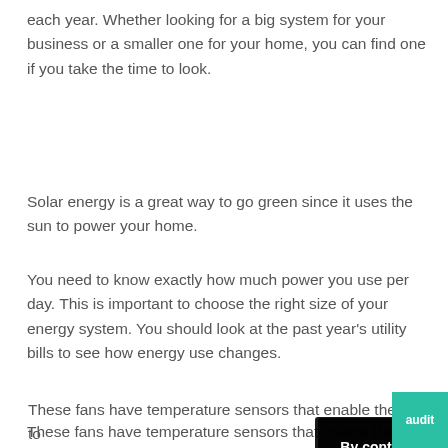each year. Whether looking for a big system for your business or a smaller one for your home, you can find one if you take the time to look.
Solar energy is a great way to go green since it uses the sun to power your home.
You need to know exactly how much power you use per day. This is important to choose the right size of your energy system. You should look at the past year's utility bills to see how energy use changes.
These fans have temperature sensors that enable them to turn on whenever it gets too hot. This will lower the cost of cooling. As a bonus, they are powered by the sun, which means they themselves add nothing to your utility bill.
You may want to buy the least amount of solar panels to save money. Have a professional perform an energy audit of your home you live in. This audit helps you possible
[Figure (other): Cookie consent dialog overlay. Dark semi-transparent background with white bold text: 'By continuing to use the site, you agree to the use of cookies. more information' and an Accept button.]